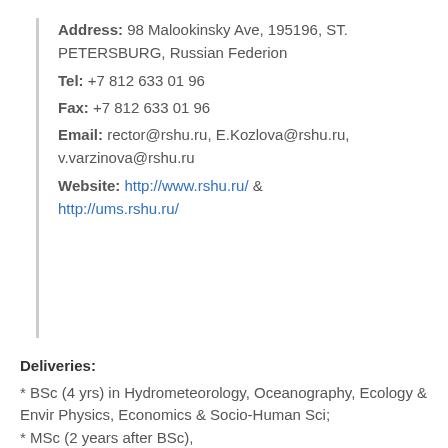Address: 98 Malookinsky Ave, 195196, ST. PETERSBURG, Russian Federion
Tel: +7 812 633 01 96
Fax: +7 812 633 01 96
Email: rector@rshu.ru, E.Kozlova@rshu.ru, v.varzinova@rshu.ru
Website: http://www.rshu.ru/ & http://ums.rshu.ru/
Deliveries:
* BSc (4 yrs) in Hydrometeorology, Oceanography, Ecology & Envir Physics, Economics & Socio-Human Sci;
* MSc (2 years after BSc),
* PhD (3 years after MSc or Diploma of Engineer),